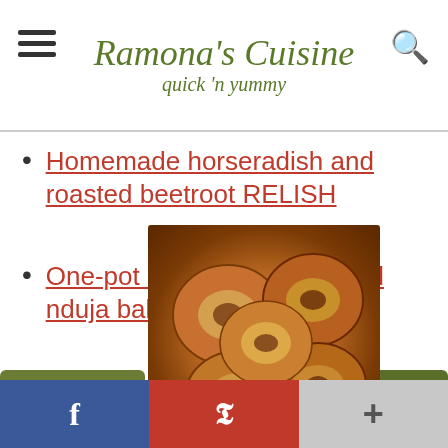Ramona's Cuisine — quick 'n yummy
Homemade horseradish and roasted beetroot RELISH
One-pot chicken, chorizo and nduja bake
[Figure (photo): Photo of Yorkshire puddings piled on a plate, golden brown and puffed, with green navigation buttons on sides]
Social share bar: Facebook, Pinterest, Plus